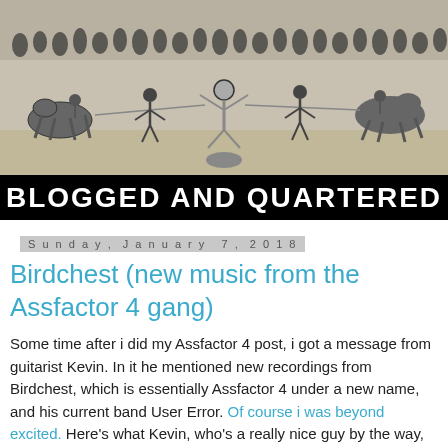[Figure (illustration): Black and white historical illustration of horses and figures being drawn and quartered, with a crowd in the background. Below is a black banner with white bold uppercase text reading 'BLOGGED AND QUARTERED'.]
BLOGGED AND QUARTERED
Sunday, January 7, 2018
Birdchest (new music from the Assfactor 4 gang)
Some time after i did my Assfactor 4 post, i got a message from guitarist Kevin. In it he mentioned new recordings from Birdchest, which is essentially Assfactor 4 under a new name, and his current band User Error. Of course i was beyond excited. Here's what Kevin, who's a really nice guy by the way, had to say: